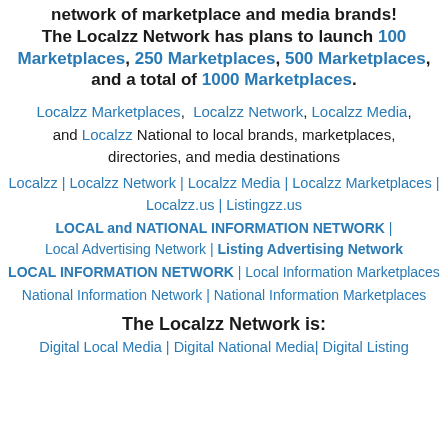network of marketplace and media brands! The Localzz Network has plans to launch 100 Marketplaces, 250 Marketplaces, 500 Marketplaces, and a total of 1000 Marketplaces.
Localzz Marketplaces, Localzz Network, Localzz Media, and Localzz National to local brands, marketplaces, directories, and media destinations
Localzz | Localzz Network | Localzz Media | Localzz Marketplaces | Localzz.us | Listingzz.us
LOCAL and NATIONAL INFORMATION NETWORK | Local Advertising Network | Listing Advertising Network
LOCAL INFORMATION NETWORK | Local Information Marketplaces
National Information Network | National Information Marketplaces
The Localzz Network is:
Digital Local Media | Digital National Media | Digital Listing